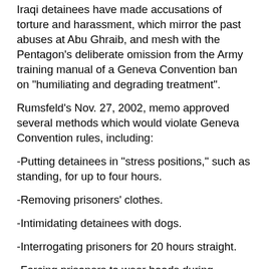Iraqi detainees have made accusations of torture and harassment, which mirror the past abuses at Abu Ghraib, and mesh with the Pentagon's deliberate omission from the Army training manual of a Geneva Convention ban on "humiliating and degrading treatment".
Rumsfeld's Nov. 27, 2002, memo approved several methods which would violate Geneva Convention rules, including:
-Putting detainees in "stress positions," such as standing, for up to four hours.
-Removing prisoners' clothes.
-Intimidating detainees with dogs.
-Interrogating prisoners for 20 hours straight.
-Forcing prisoners to wear hoods during interrogations and transport.
-Shaving prisoner's heads and beards.